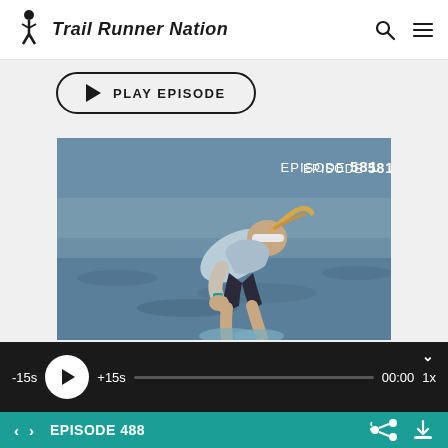Trail Runner Nation
PLAY EPISODE
[Figure (photo): Female trail runner bent over exhausted near water, wearing light blue tank top, dark shorts, and white headband. Text overlay reads EPISODE 581.]
EPISODE 581
-15s  ▶  +15s  00:00  1x
EPISODE 488